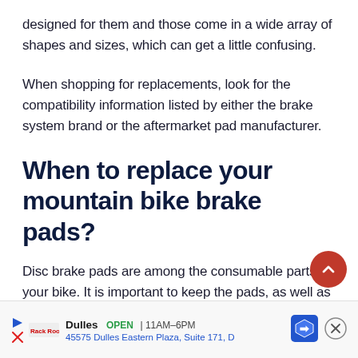designed for them and those come in a wide array of shapes and sizes, which can get a little confusing.
When shopping for replacements, look for the compatibility information listed by either the brake system brand or the aftermarket pad manufacturer.
When to replace your mountain bike brake pads?
Disc brake pads are among the consumable parts on your bike. It is important to keep the pads, as well as other brake components, in good cond and se
[Figure (other): Advertisement bar for Dulles store: OPEN 11AM-6PM, 45575 Dulles Eastern Plaza, Suite 171, D. Includes navigation icons and map icon.]